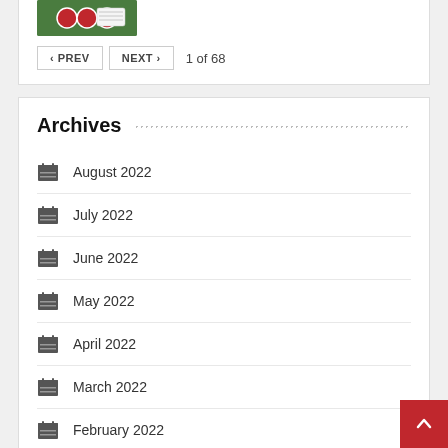[Figure (photo): Casino chips and playing cards image thumbnail]
PREV   NEXT   1 of 68
Archives
August 2022
July 2022
June 2022
May 2022
April 2022
March 2022
February 2022
January 2022
December 2021